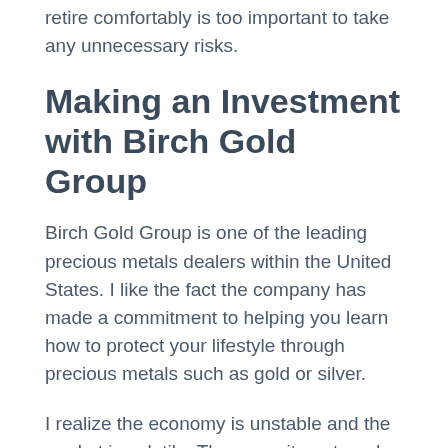retire comfortably is too important to take any unnecessary risks.
Making an Investment with Birch Gold Group
Birch Gold Group is one of the leading precious metals dealers within the United States. I like the fact the company has made a commitment to helping you learn how to protect your lifestyle through precious metals such as gold or silver.
I realize the economy is unstable and the market is volatile. The commitment made by the company is what ensured they stood out